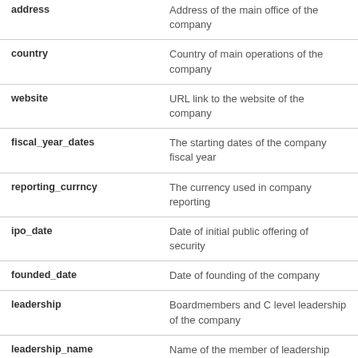| Field | Description |
| --- | --- |
| address | Address of the main office of the company |
| country | Country of main operations of the company |
| website | URL link to the website of the company |
| fiscal_year_dates | The starting dates of the company fiscal year |
| reporting_currncy | The currency used in company reporting |
| ipo_date | Date of initial public offering of security |
| founded_date | Date of founding of the company |
| leadership | Boardmembers and C level leadership of the company |
| leadership_name | Name of the member of leadership |
| leadership_function | Function of the member of leadership |